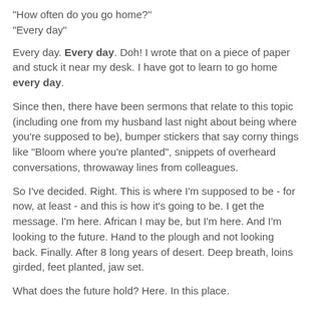"How often do you go home?"
"Every day"
Every day. Every day. Doh! I wrote that on a piece of paper and stuck it near my desk. I have got to learn to go home every day.
Since then, there have been sermons that relate to this topic (including one from my husband last night about being where you're supposed to be), bumper stickers that say corny things like "Bloom where you're planted", snippets of overheard conversations, throwaway lines from colleagues.
So I've decided. Right. This is where I'm supposed to be - for now, at least - and this is how it's going to be. I get the message. I'm here. African I may be, but I'm here. And I'm looking to the future. Hand to the plough and not looking back. Finally. After 8 long years of desert. Deep breath, loins girded, feet planted, jaw set.
What does the future hold? Here. In this place.